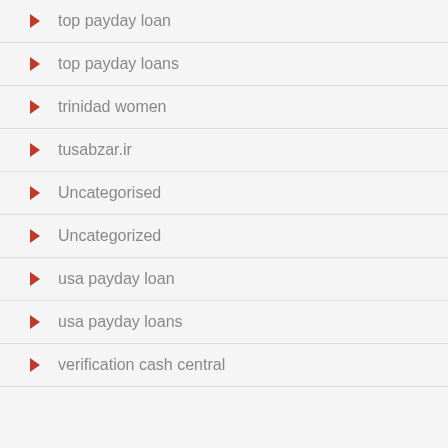top payday loan
top payday loans
trinidad women
tusabzar.ir
Uncategorised
Uncategorized
usa payday loan
usa payday loans
verification cash central